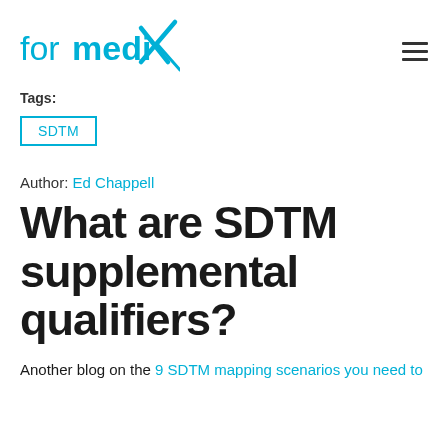formedix (logo) | hamburger menu
Tags:
SDTM
Author: Ed Chappell
What are SDTM supplemental qualifiers?
Another blog on the 9 SDTM mapping scenarios you need to